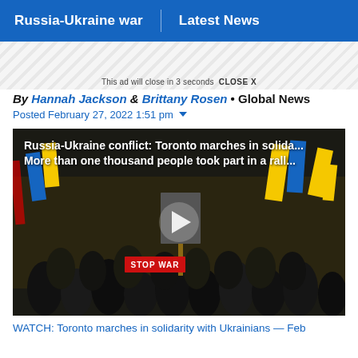Russia-Ukraine war | Latest News
This ad will close in 3 seconds  CLOSE X
By Hannah Jackson & Brittany Rosen • Global News
Posted February 27, 2022 1:51 pm
[Figure (screenshot): Video thumbnail showing a protest crowd with Ukraine flags and a STOP WAR sign. Video title overlay reads: Russia-Ukraine conflict: Toronto marches in solida... / More than one thousand people took part in a rall... A play button is visible in the center.]
WATCH: Toronto marches in solidarity with Ukrainians — Feb